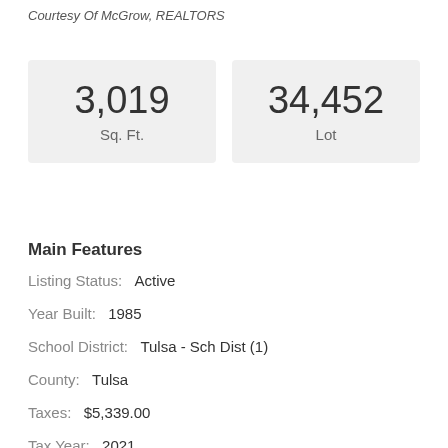Courtesy Of McGrow, REALTORS
3,019
Sq. Ft.
34,452
Lot
Main Features
Listing Status:  Active
Year Built:  1985
School District:  Tulsa - Sch Dist (1)
County:  Tulsa
Taxes:  $5,339.00
Tax Year:  2021